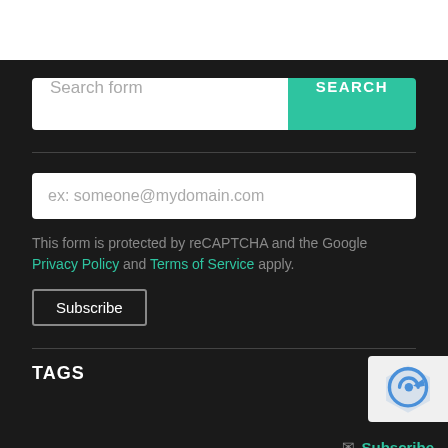[Figure (screenshot): Search form input field with teal SEARCH button]
ex: someone@mydomain.com
This form is protected by reCAPTCHA and the Google Privacy Policy and Terms of Service apply.
Subscribe
[Figure (logo): reCAPTCHA badge logo]
Subscribe
TAGS